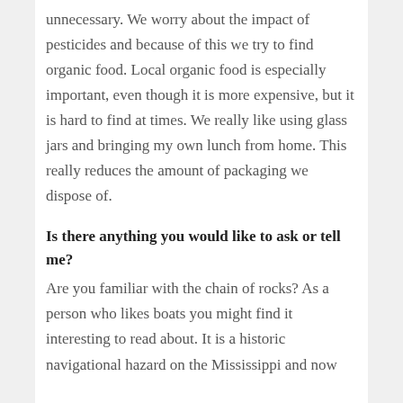unnecessary.  We worry about the impact of pesticides and because of this we try to find organic food.  Local organic food is especially important, even though it is more expensive, but it is hard to find at times.  We really like using glass jars and bringing my own lunch from home.  This really reduces the amount of packaging we dispose of.
Is there anything you would like to ask or tell me?
Are you familiar with the chain of rocks?  As a person who likes boats you might find it interesting to read about.  It is a historic navigational hazard on the Mississippi and now